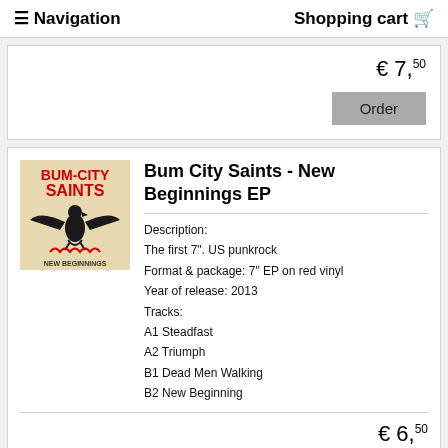≡ Navigation    Shopping cart 🛒
€ 7,50
Order
Bum City Saints - New Beginnings EP
Description:
The first 7". US punkrock
Format & package: 7" EP on red vinyl
Year of release: 2013
Tracks:
A1 Steadfast
A2 Triumph
B1 Dead Men Walking
B2 New Beginning
€ 6,50